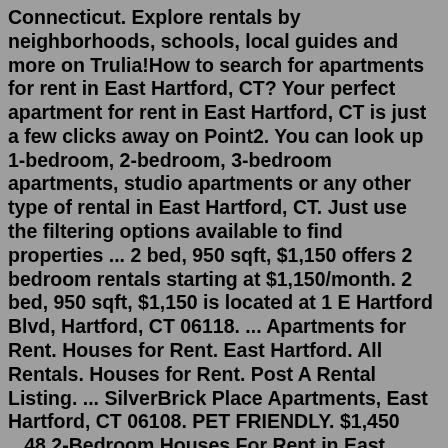Connecticut. Explore rentals by neighborhoods, schools, local guides and more on Trulia!How to search for apartments for rent in East Hartford, CT? Your perfect apartment for rent in East Hartford, CT is just a few clicks away on Point2. You can look up 1-bedroom, 2-bedroom, 3-bedroom apartments, studio apartments or any other type of rental in East Hartford, CT. Just use the filtering options available to find properties ... 2 bed, 950 sqft, $1,150 offers 2 bedroom rentals starting at $1,150/month. 2 bed, 950 sqft, $1,150 is located at 1 E Hartford Blvd, Hartford, CT 06118. ... Apartments for Rent. Houses for Rent. East Hartford. All Rentals. Houses for Rent. Post A Rental Listing. ... SilverBrick Place Apartments, East Hartford, CT 06108. PET FRIENDLY. $1,450 ...48 2-Bedroom Houses For Rent in East Hartford, CT. Sort: Best Match. Pet Friendly. 1 of 28. $1,465+. Woodcliff Estates Apartments. 181 Nutmeg Ln, East Hartford, CT 06118. Colonial Court Apartments. 541 Burnside Ave, East Hartford, CT 06108. Email Property. (860) 358-4841. 1 of 17. $850+. Grand Pointe